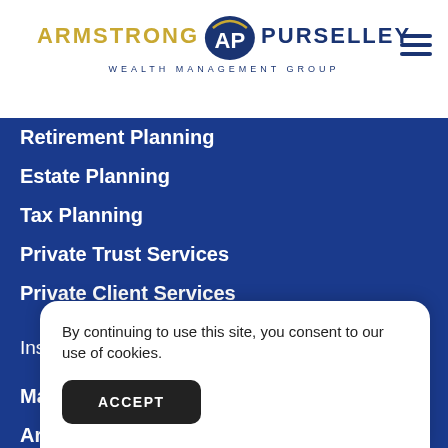[Figure (logo): Armstrong Purselley Wealth Management Group logo with gold ARMSTRONG text, navy PURSELLEY text, and AP badge emblem]
Retirement Planning
Estate Planning
Tax Planning
Private Trust Services
Private Client Services
Insights
Market Commentary
Articles
Vi…
P…
In…
G…
By continuing to use this site, you consent to our use of cookies.